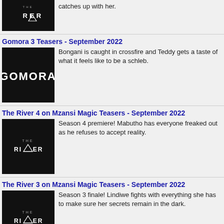[Figure (logo): The River TV show logo on black background]
catches up with her.
Gomora 3 Teasers - September 2022
[Figure (logo): Gomora TV show logo - white text on black background]
Bongani is caught in crossfire and Teddy gets a taste of what it feels like to be a schleb.
The River 4 on Mzansi Magic Teasers - September 2022
[Figure (logo): The River TV show logo on black background]
Season 4 premiere! Mabutho has everyone freaked out as he refuses to accept reality.
The River 3 on Mzansi Magic Teasers - September 2022
[Figure (logo): The River TV show logo on black background]
Season 3 finale! Lindiwe fights with everything she has to make sure her secrets remain in the dark.
Doodsondes 4 Teasers - September 2021
[Figure (photo): Doodsondes TV show thumbnail - dark reddish image]
Yildiz's world is turned upside down, Sahika is humiliated, and Ender stands victorious.